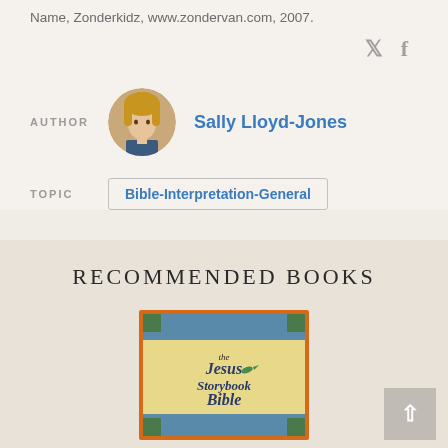Name, Zonderkidz, www.zondervan.com, 2007.
AUTHOR  Sally Lloyd-Jones
TOPIC  Bible-Interpretation-General
RECOMMENDED BOOKS
[Figure (photo): Book cover of 'The Jesus Storybook Bible']